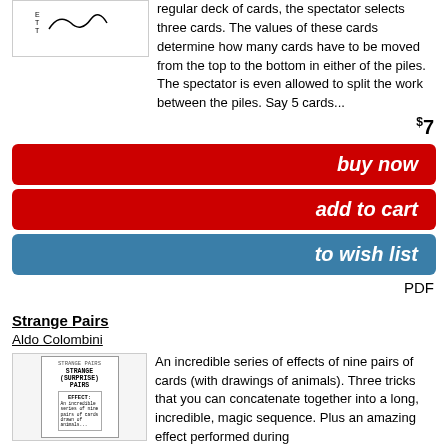regular deck of cards, the spectator selects three cards. The values of these cards determine how many cards have to be moved from the top to the bottom in either of the piles. The spectator is even allowed to split the work between the piles. Say 5 cards...
$7
buy now
add to cart
to wish list
PDF
Strange Pairs
Aldo Colombini
An incredible series of effects of nine pairs of cards (with drawings of animals). Three tricks that you can concatenate together into a long, incredible, magic sequence. Plus an amazing effect performed during